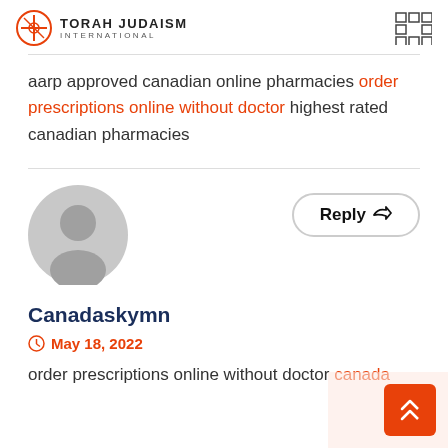TORAH JUDAISM INTERNATIONAL
aarp approved canadian online pharmacies order prescriptions online without doctor highest rated canadian pharmacies
[Figure (illustration): Gray default user avatar icon (circular silhouette with head and shoulders)]
Reply ↩
Canadaskymn
May 18, 2022
order prescriptions online without doctor canada